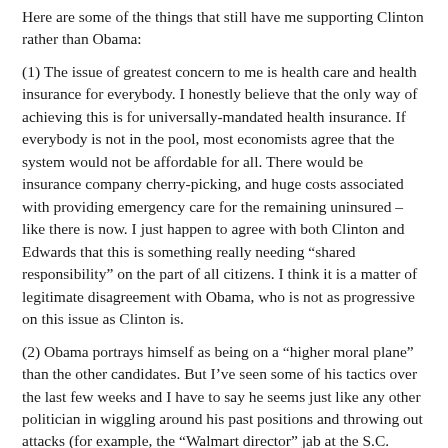Here are some of the things that still have me supporting Clinton rather than Obama:
(1) The issue of greatest concern to me is health care and health insurance for everybody. I honestly believe that the only way of achieving this is for universally-mandated health insurance. If everybody is not in the pool, most economists agree that the system would not be affordable for all. There would be insurance company cherry-picking, and huge costs associated with providing emergency care for the remaining uninsured – like there is now. I just happen to agree with both Clinton and Edwards that this is something really needing “shared responsibility” on the part of all citizens. I think it is a matter of legitimate disagreement with Obama, who is not as progressive on this issue as Clinton is.
(2) Obama portrays himself as being on a “higher moral plane” than the other candidates. But I’ve seen some of his tactics over the last few weeks and I have to say he seems just like any other politician in wiggling around his past positions and throwing out attacks (for example, the “Walmart director” jab at the S.C. debate, or failing to denounce the Spanish-language radio ads in Nevada). Yes, I think the Clinton campaign unfairly twisted what Obama was saying about Reagan and his “ideas”. I disagree with